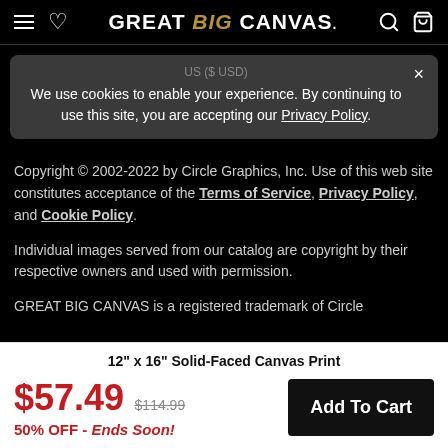GREAT BIG CANVAS
US ($ USD)
We use cookies to enable your experience. By continuing to use this site, you are accepting our Privacy Policy.
Copyright © 2002-2022 by Circle Graphics, Inc. Use of this web site constitutes acceptance of the Terms of Service, Privacy Policy, and Cookie Policy.
Individual images served from our catalog are copyright by their respective owners and used with permission.
GREAT BIG CANVAS is a registered trademark of Circle
12" x 16" Solid-Faced Canvas Print
$57.49  $114.99  50% OFF - Ends Soon!
Add To Cart